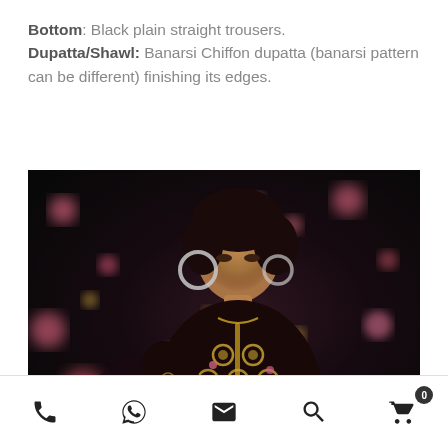Bottom: Black plain straight trousers.
Dupatta/Shawl: Banarsi Chiffon dupatta (banarsi pattern can be different) finishing its edges.
[Figure (photo): A woman model wearing an ornate black embroidered outfit with gold circular patterns and pink floral embellishments, photographed against a dark background with pink and gold bokeh light effects.]
Phone | WhatsApp | Email | Search | Cart (0)